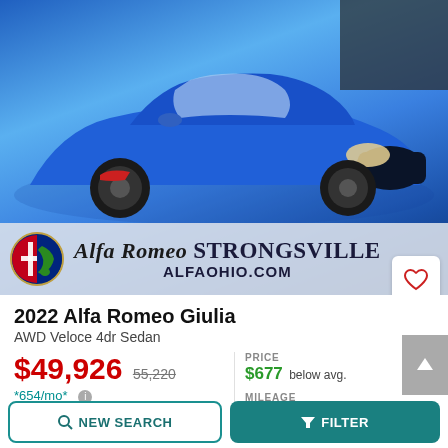[Figure (photo): Blue 2022 Alfa Romeo Giulia AWD Veloce 4dr Sedan photograph with Alfa Romeo Strongsville dealer overlay showing logo, italic script name, and ALFAOHIO.COM website]
2022 Alfa Romeo Giulia
AWD Veloce 4dr Sedan
$49,926  $55,220  *654/mo*  16 miles
PRICE $677 below avg.
MILEAGE 30 miles below avg.
NEW SEARCH  FILTER